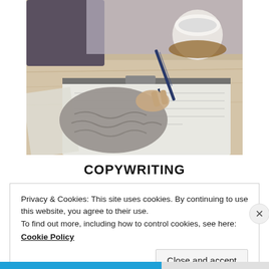[Figure (photo): A person wearing a grey chunky knit sweater writing with a pen on paper on a wooden table, with a white mug and notebook in the background.]
COPYWRITING
Privacy & Cookies: This site uses cookies. By continuing to use this website, you agree to their use.
To find out more, including how to control cookies, see here:
Cookie Policy
Close and accept